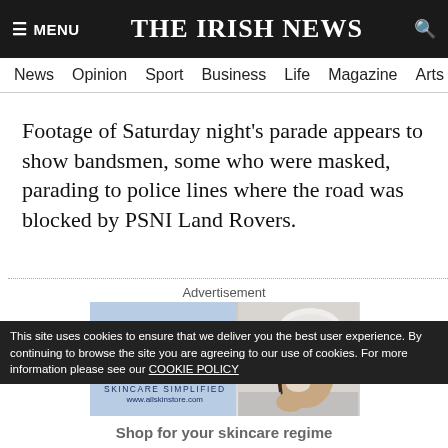≡ MENU   THE IRISH NEWS   🔍
News  Opinion  Sport  Business  Life  Magazine  Arts
Footage of Saturday night's parade appears to show bandsmen, some who were masked, parading to police lines where the road was blocked by PSNI Land Rovers.
Advertisement
[Figure (photo): Advertisement for Allskin skincare brand showing a woman with a white towel on her head applying cream to her face. Text reads: Allskin, SKINCARE SIMPLIFIED, www.allskinstore.com]
This site uses cookies to ensure that we deliver you the best user experience. By continuing to browse the site you are agreeing to our use of cookies. For more information please see our COOKIE POLICY